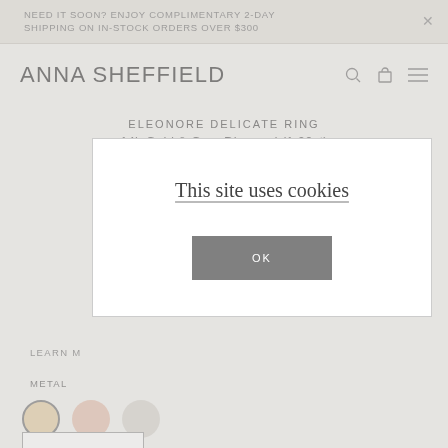NEED IT SOON? ENJOY COMPLIMENTARY 2-DAY SHIPPING ON IN-STOCK ORDERS OVER $300
ANNA SHEFFIELD
ELEONORE DELICATE RING
14k Gold & Grey Diamond (1.00ct)
$3,545
[Figure (screenshot): Cookie consent modal overlay with text 'This site uses cookies' and an OK button]
LEARN M...
METAL
[Figure (illustration): Three metal color swatches: yellow gold (selected), rose gold, white gold]